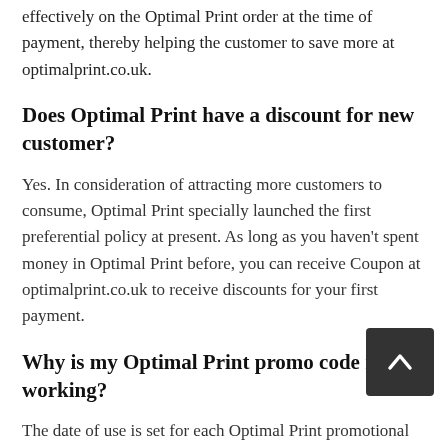effectively on the Optimal Print order at the time of payment, thereby helping the customer to save more at optimalprint.co.uk.
Does Optimal Print have a discount for new customer?
Yes. In consideration of attracting more customers to consume, Optimal Print specially launched the first preferential policy at present. As long as you haven't spent money in Optimal Print before, you can receive Coupon at optimalprint.co.uk to receive discounts for your first payment.
Why is my Optimal Print promo code not working?
The date of use is set for each Optimal Print promotional code. In most cases, the Optimal Print Coupon can only be used once. If it is not available, please check whether your Optimal Print Promo Code are invalid or have been used.